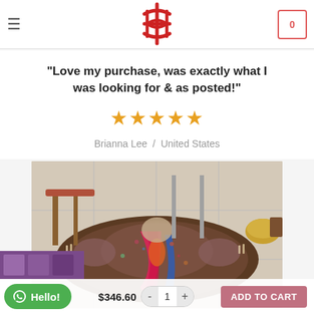Navigation header with hamburger menu, logo symbol, and shopping cart (0 items)
"Love my purchase, was exactly what I was looking for & as posted!"
[Figure (other): Five orange star rating icons]
Brianna Lee / United States
[Figure (photo): Colorful Moroccan boucherouite rag rug displayed on tiled floor with furniture in background]
WhatsApp Hello! button | $346.60 price | quantity control (- 1 +) | ADD TO CART button